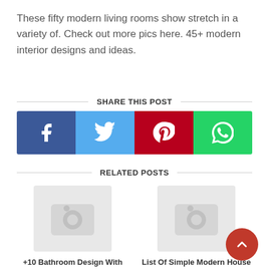These fifty modern living rooms show stretch in a variety of. Check out more pics here. 45+ modern interior designs and ideas.
SHARE THIS POST
[Figure (infographic): Social share buttons: Facebook (blue), Twitter (light blue), Pinterest (dark red), WhatsApp (green)]
RELATED POSTS
[Figure (photo): Placeholder thumbnail image (camera icon) for related post 1]
[Figure (photo): Placeholder thumbnail image (camera icon) for related post 2]
+10 Bathroom Design With
List Of Simple Modern House